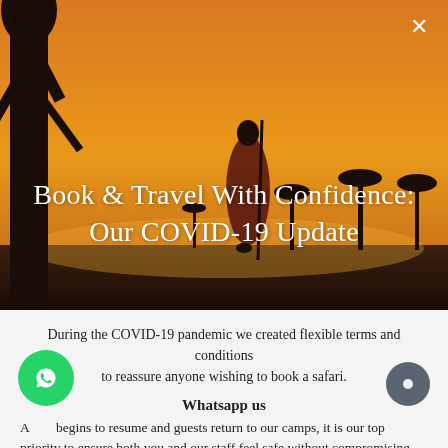[Figure (photo): A Maasai warrior silhouetted against an orange sunset sky, standing with a spear among acacia trees on the African savanna.]
Book & Travel With Confidence: Our COVID-19 Update
During the COVID-19 pandemic we created flexible terms and conditions to reassure anyone wishing to book a safari.
Whatsapp us
As travel begins to resume and guests return to our camps, it is our top priority to ensure both you and our staff feel safe without compromising the quality, hospitality and excitement that you've come to expect of a